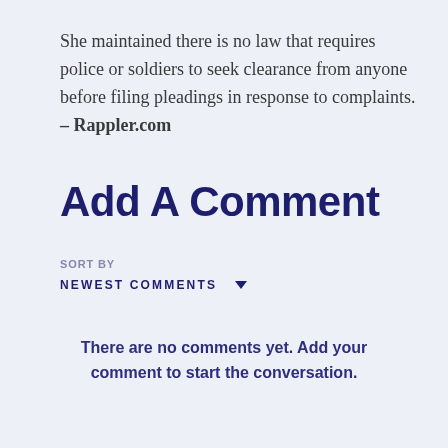She maintained there is no law that requires police or soldiers to seek clearance from anyone before filing pleadings in response to complaints. – Rappler.com
Add A Comment
SORT BY
NEWEST COMMENTS
There are no comments yet. Add your comment to start the conversation.